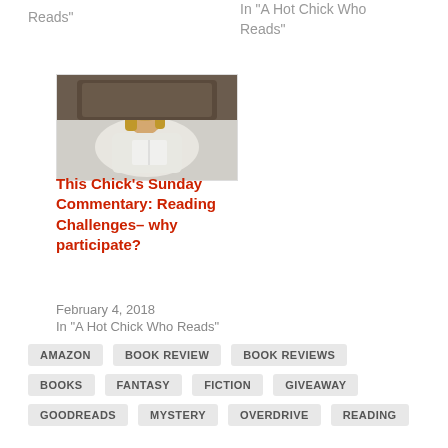Reads"
In "A Hot Chick Who Reads"
[Figure (photo): Woman in white sitting in bed reading a book]
This Chick’s Sunday Commentary: Reading Challenges– why participate?
February 4, 2018
In "A Hot Chick Who Reads"
AMAZON
BOOK REVIEW
BOOK REVIEWS
BOOKS
FANTASY
FICTION
GIVEAWAY
GOODREADS
MYSTERY
OVERDRIVE
READING